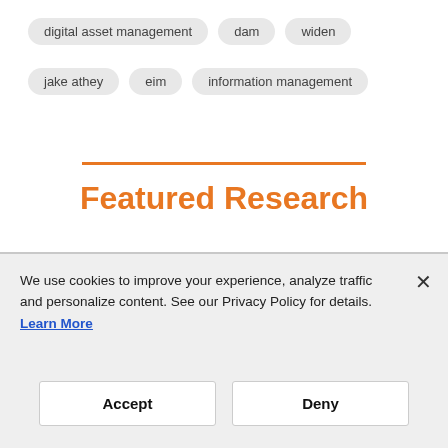digital asset management
dam
widen
jake athey
eim
information management
Featured Research
[Figure (photo): Two women looking at a laptop screen together]
EBOOK
The Organization of the Future
A Blueprint for structuring your optimal
We use cookies to improve your experience, analyze traffic and personalize content. See our Privacy Policy for details. Learn More
Accept
Deny